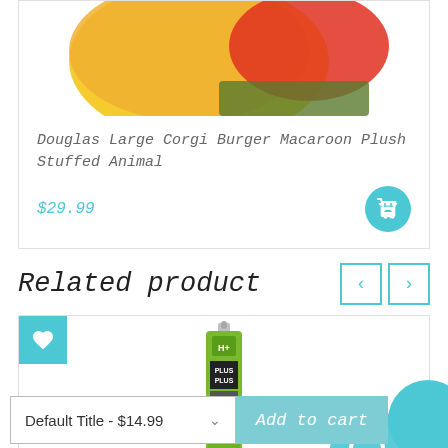[Figure (photo): Top portion of a stuffed animal product - corgi burger macaroon plush, showing yellow/orange and red/green colors]
Douglas Large Corgi Burger Macaroon Plush Stuffed Animal
$29.99
Related product
[Figure (photo): Plus Plus Alligator building toy in a cylindrical tube container with green label]
Default Title - $14.99
Add to cart